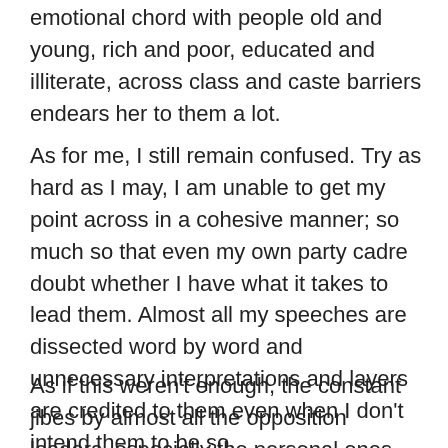emotional chord with people old and young, rich and poor, educated and illiterate, across class and caste barriers endears her to them a lot.
As for me, I still remain confused. Try as hard as I may, I am unable to get my point across in a cohesive manner; so much so that even my own party cadre doubt whether I have what it takes to lead them. Almost all my speeches are dissected word by word and unnecessary interpretations and layers are credited to them even when I don't intend them to be so.
As if this weren't enough, the constant jibes by almost all the opposition leaders, especially the personal ones relating to my half-foreign lineage, my ex-girlfriends, my educational background are also very hurtful. While I am Ok with history and people